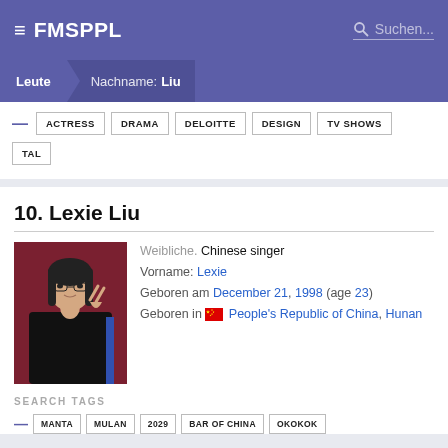FMSPPL — Suchen...
Leute › Nachname: Liu
ACTRESS | DRAMA | DELOITTE | DESIGN | TV SHOWS | TAL
10. Lexie Liu
[Figure (photo): Photo of Lexie Liu, a young Asian woman in a black outfit making a peace sign, against a dark red background]
Weibliche. Chinese singer
Vorname: Lexie
Geboren am December 21, 1998 (age 23)
Geboren in 🇨🇳 People's Republic of China, Hunan
SEARCH TAGS
— MANTA | MULAN | 2029 | BAR OF CHINA | OKOKOK